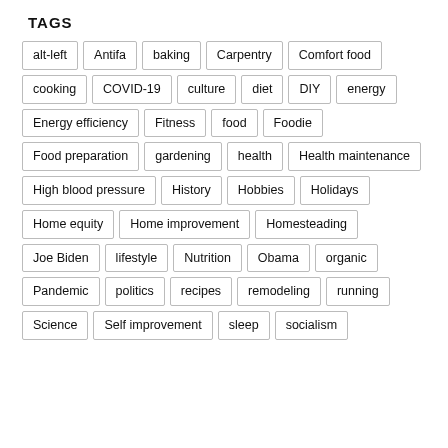TAGS
alt-left
Antifa
baking
Carpentry
Comfort food
cooking
COVID-19
culture
diet
DIY
energy
Energy efficiency
Fitness
food
Foodie
Food preparation
gardening
health
Health maintenance
High blood pressure
History
Hobbies
Holidays
Home equity
Home improvement
Homesteading
Joe Biden
lifestyle
Nutrition
Obama
organic
Pandemic
politics
recipes
remodeling
running
Science
Self improvement
sleep
socialism